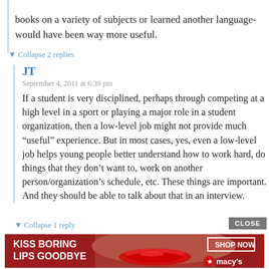books on a variety of subjects or learned another language-would have been way more useful.
▼ Collapse 2 replies
JT
September 4, 2011 at 6:39 pm
If a student is very disciplined, perhaps through competing at a high level in a sport or playing a major role in a student organization, then a low-level job might not provide much "useful" experience. But in most cases, yes, even a low-level job helps young people better understand how to work hard, do things that they don't want to, work on another person/organization's schedule, etc. These things are important. And they should be able to talk about that in an interview.
▼ Collapse 1 reply
[Figure (other): Advertisement banner: KISS BORING LIPS GOODBYE with woman's face and red lips, SHOP NOW button and Macy's logo with red star]